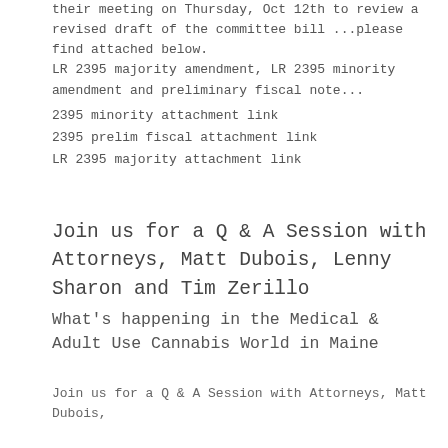their meeting on Thursday, Oct 12th to review a revised draft of the committee bill ...please find attached below. LR 2395 majority amendment, LR 2395 minority amendment and preliminary fiscal note...
2395 minority attachment link
2395 prelim fiscal attachment link
LR 2395 majority attachment link
Join us for a Q & A Session with Attorneys, Matt Dubois, Lenny Sharon and Tim Zerillo
What's happening in the Medical & Adult Use Cannabis World in Maine
Join us for a Q & A Session with Attorneys, Matt Dubois,

Lenny Sharon and  Tim Zerillo